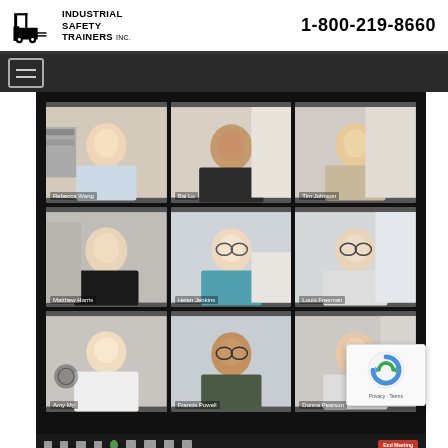[Figure (logo): Industrial Safety Trainers Inc. logo with forklift icon]
1-800-219-8660
[Figure (screenshot): Video conferencing grid showing 9 participants: Rebecca Wang, Bai Lu, Tim Johnson, Matthew Harris, Helen Jenkins, Louis Freeman, Amy My, Francis Powell, Donna Pearson]
Privacy · Terms